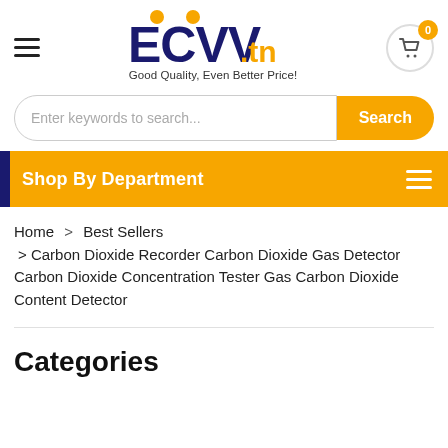ECVV.tn — Good Quality, Even Better Price!
Enter keywords to search... Search
Shop By Department
Home > Best Sellers > Carbon Dioxide Recorder Carbon Dioxide Gas Detector Carbon Dioxide Concentration Tester Gas Carbon Dioxide Content Detector
Categories